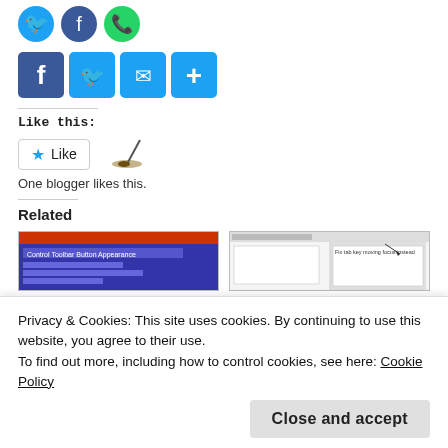[Figure (screenshot): Social media circle icons: Twitter (blue), Facebook (blue), WhatsApp (green)]
[Figure (screenshot): Share bar with icons: Facebook (f), Twitter bird, Mail envelope, Plus/More — all blue square buttons]
Like this:
[Figure (screenshot): Like button with star icon and a golf avatar emoji. Text: One blogger likes this.]
One blogger likes this.
Related
[Figure (screenshot): Two thumbnail screenshots of related articles — left shows Control Toolbar Buttons Appearance, right shows another app screenshot]
Privacy & Cookies: This site uses cookies. By continuing to use this website, you agree to their use.
To find out more, including how to control cookies, see here: Cookie Policy
In "C#"
Swing